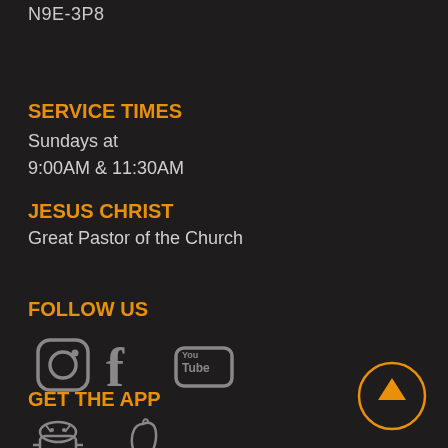N9E-3P8
SERVICE TIMES
Sundays at
9:00AM & 11:30AM
JESUS CHRIST
Great Pastor of the Church
FOLLOW US
[Figure (infographic): Social media icons: Instagram, Facebook, YouTube]
GET THE APP
[Figure (infographic): App store icons: Android (robot) and Apple]
[Figure (infographic): Orange circle with upward arrow (back to top button)]